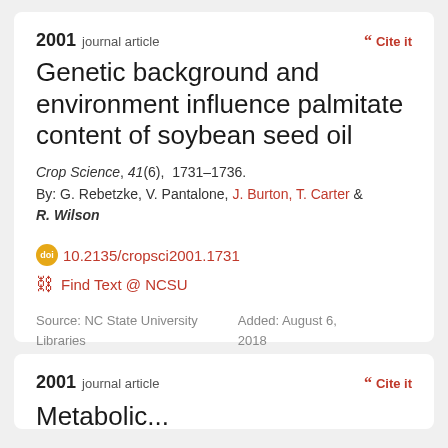2001 journal article
Cite it
Genetic background and environment influence palmitate content of soybean seed oil
Crop Science, 41(6), 1731–1736.
By: G. Rebetzke, V. Pantalone, J. Burton, T. Carter & R. Wilson
10.2135/cropsci2001.1731
Find Text @ NCSU
Source: NC State University Libraries
Added: August 6, 2018
2001 journal article
Cite it